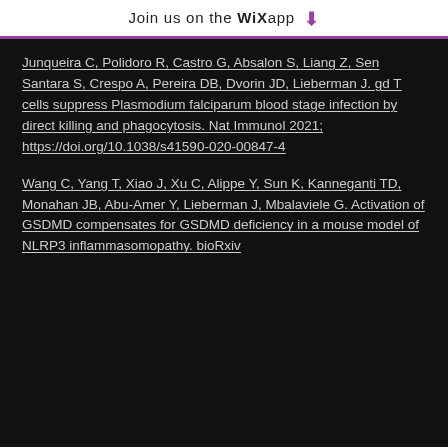Join us on the WiX app ⬇
Junqueira C, Polidoro R, Castro G, Absalon S, Liang Z, Sen Santara S, Crespo A, Pereira DB, Dvorin JD, Lieberman J. gd T cells suppress Plasmodium falciparum blood stage infection by direct killing and phagocytosis. Nat Immunol 2021; https://doi.org/10.1038/s41590-020-00847-4
Wang C, Yang T, Xiao J, Xu C, Alippe Y, Sun K, Kanneganti TD, Monahan JB, Abu-Amer Y, Lieberman J, Mbalaviele G. Activation of GSDMD compensates for GSDMD deficiency in a mouse model of NLRP3 inflammasomopathy. bioRxiv